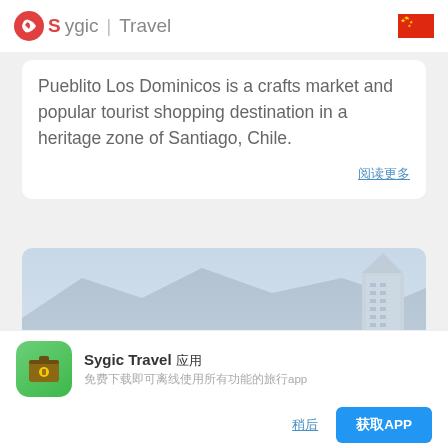Sygic | Travel
Pueblito Los Dominicos is a crafts market and popular tourist shopping destination in a heritage zone of Santiago, Chile.
阅读更多
[Figure (photo): Cityscape photo of Santiago, Chile, with mountains in the background and a tall modern skyscraper on the right side]
Sygic Travel 应用
免费下载即可离线使用所有功能的旅行app
稍后
获取APP